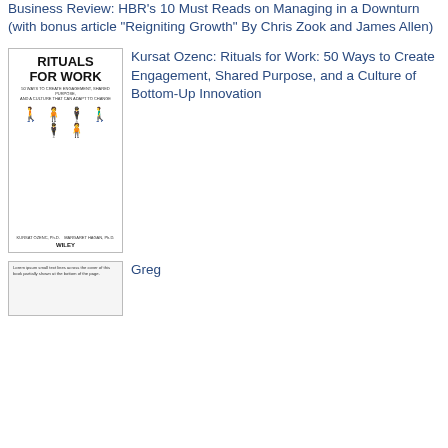Business Review: HBR's 10 Must Reads on Managing in a Downturn (with bonus article "Reigniting Growth" By Chris Zook and James Allen)
[Figure (illustration): Book cover for Rituals for Work by Kursat Ozenc. White cover with bold black text 'RITUALS FOR WORK', subtitle text, stick figure illustrations of people in various activities, author names, and Wiley logo.]
Kursat Ozenc: Rituals for Work: 50 Ways to Create Engagement, Shared Purpose, and a Culture of Bottom-Up Innovation
[Figure (illustration): Partial book cover, white/light background with small text, partially visible at bottom of page.]
Greg